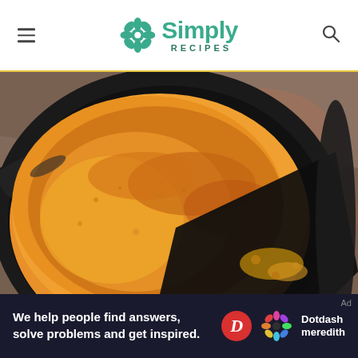Simply Recipes
[Figure (photo): Overhead close-up photo of golden-brown cornbread baked in a cast iron skillet, with a slice removed revealing the crumbly interior, set on a stone surface.]
We help people find answers, solve problems and get inspired. Dotdash meredith